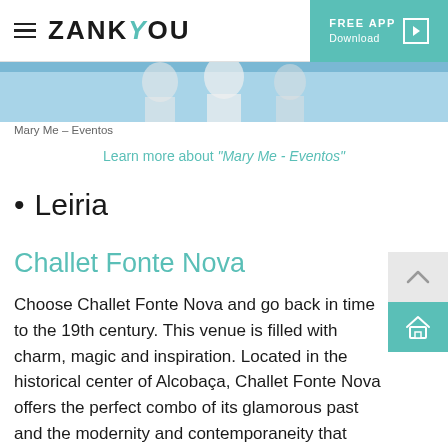ZANKYOU | FREE APP Download
[Figure (photo): Wedding event photo showing people against a blue sky background]
Mary Me – Eventos
Learn more about "Mary Me - Eventos"
Leiria
Challet Fonte Nova
Choose Challet Fonte Nova and go back in time to the 19th century. This venue is filled with charm, magic and inspiration. Located in the historical center of Alcobaça, Challet Fonte Nova offers the perfect combo of its glamorous past and the modernity and contemporaneity that describes the present. For those couples and guests who want an amazing place to rest